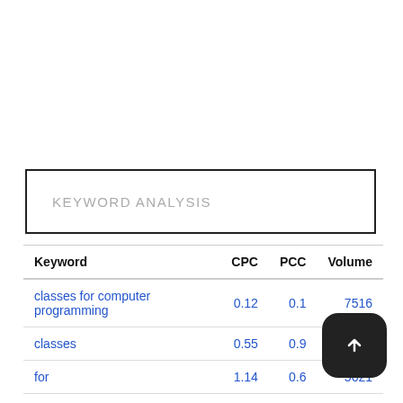KEYWORD ANALYSIS
| Keyword | CPC | PCC | Volume |
| --- | --- | --- | --- |
| classes for computer programming | 0.12 | 0.1 | 7516 |
| classes | 0.55 | 0.9 | 8652 |
| for | 1.14 | 0.6 | 5621 |
| computer | 1.59 | 0.9 | 428 |